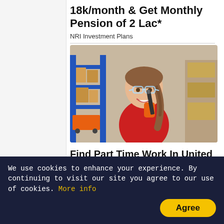18k/month & Get Monthly Pension of 2 Lac*
NRI Investment Plans
[Figure (photo): A smiling young woman wearing a red jacket, safety glasses, and orange work gloves, holding a tool near her face in a warehouse setting with shelves and boxes in the background.]
Find Part Time Work In United States
Search Ads
We use cookies to enhance your experience. By continuing to visit our site you agree to our use of cookies. More info
Agree